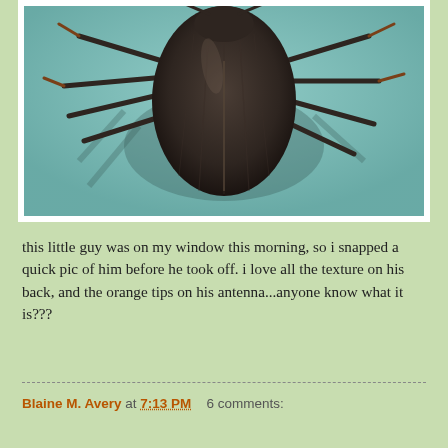[Figure (photo): Close-up photo of a stink bug (shield bug) on a window. The bug is shown from above, with visible texture on its dark brown back, multiple legs with orange-tipped antennae, against a teal/green glass background.]
this little guy was on my window this morning, so i snapped a quick pic of him before he took off. i love all the texture on his back, and the orange tips on his antenna...anyone know what it is???
Blaine M. Avery at 7:13 PM   6 comments: